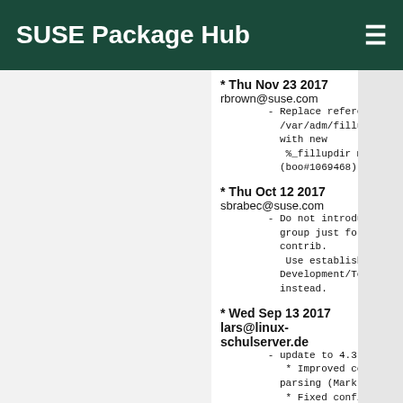SUSE Package Hub
* Thu Nov 23 2017 rbrown@suse.com
    - Replace references to /var/adm/fillup-templates with new
      %_fillupdir macro (boo#1069468)
* Thu Oct 12 2017 sbrabec@suse.com
    - Do not introduce new RPM group just for nagios-contrib.
      Use established Development/Tools/Other instead.
* Wed Sep 13 2017 lars@linux-schulserver.de
    - update to 4.3.4
      * Improved config file parsing (Mark Felder)
      * Fixed configure script to check for existence of /run for lock
        file (in regards to CVE-2017-12847, Bryan Heden)
      * Use absolute paths when deleting check results files (Emmanuel Dreyfus)
      * Add sanity checking in